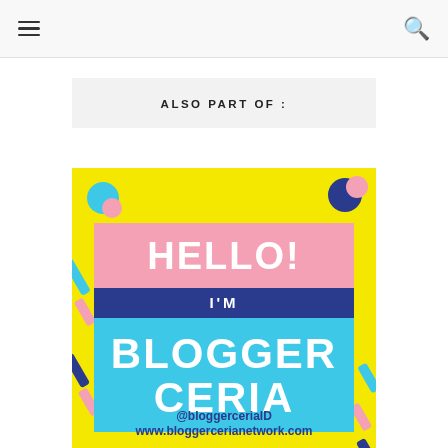≡  🔍
ALSO PART OF :
[Figure (illustration): Blogger Ceria promotional badge on yellow background with colorful decorative shapes. Contains text: HELLO! I'M BLOGGER CERIA @bloggerceriaID www.bloggercerianetwork.com]